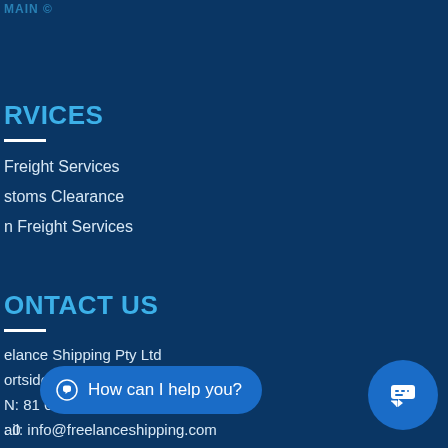RVICES
Freight Services
stoms Clearance
n Freight Services
ONTACT US
elance Shipping Pty Ltd
ortside Crescent Maryville NSW 2293
N: 81 615 140 406
: 0
ail: info@freelanceshipping.com